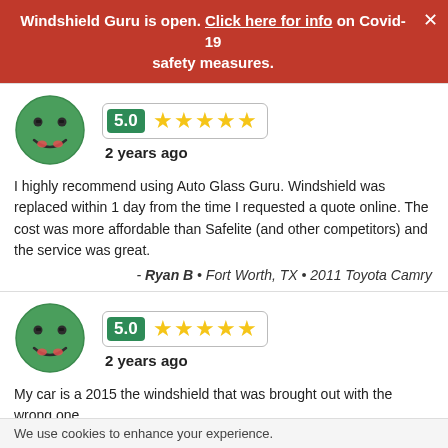Windshield Guru is open. Click here for info on Covid-19 safety measures.
[Figure (illustration): Green smiley face avatar icon with rating 5.0 and five gold stars, labeled '2 years ago']
I highly recommend using Auto Glass Guru. Windshield was replaced within 1 day from the time I requested a quote online. The cost was more affordable than Safelite (and other competitors) and the service was great.
- Ryan B • Fort Worth, TX • 2011 Toyota Camry
[Figure (illustration): Green smiley face avatar icon with rating 5.0 and five gold stars, labeled '2 years ago']
My car is a 2015 the windshield that was brought out with the wrong one
- Clinton B • Houston, TX • 2014 Ford Mustang
We use cookies to enhance your experience.